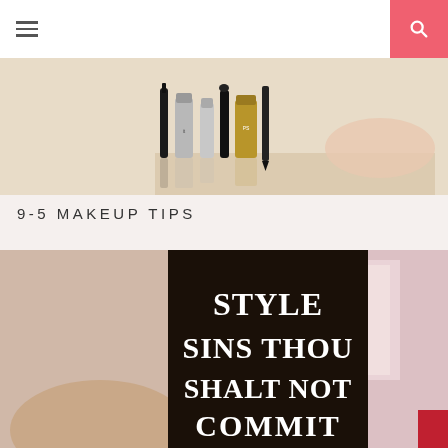Navigation header with hamburger menu and search button
[Figure (photo): Makeup products including mascaras, foundations and cosmetics arranged on a beige surface]
9-5 MAKEUP TIPS
[Figure (photo): Style article image with dark panel overlay reading STYLE SINS THOU SHALT NOT COMMIT, with person in background]